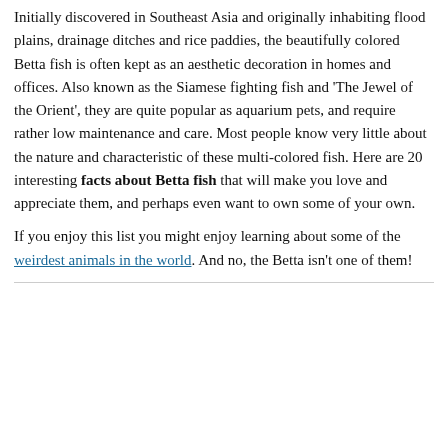Initially discovered in Southeast Asia and originally inhabiting flood plains, drainage ditches and rice paddies, the beautifully colored Betta fish is often kept as an aesthetic decoration in homes and offices. Also known as the Siamese fighting fish and 'The Jewel of the Orient', they are quite popular as aquarium pets, and require rather low maintenance and care. Most people know very little about the nature and characteristic of these multi-colored fish. Here are 20 interesting facts about Betta fish that will make you love and appreciate them, and perhaps even want to own some of your own.
If you enjoy this list you might enjoy learning about some of the weirdest animals in the world. And no, the Betta isn't one of them!